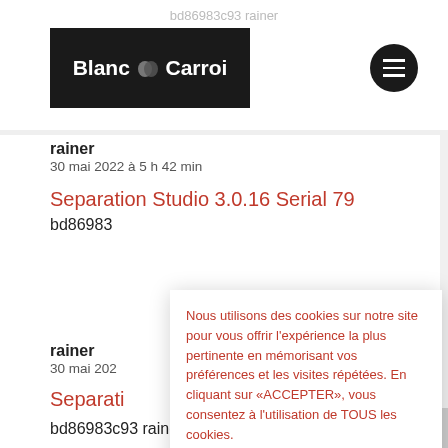bd86983c93 rainer
[Figure (logo): Blanc N Carroi logo — white text on black background with stylized carroi icon]
rainer
30 mai 2022 à 5 h 42 min
Separation Studio 3.0.16 Serial 79
bd86983
Nous utilisons des cookies sur notre site pour vous offrir l'expérience la plus pertinente en mémorisant vos préférences et les visites répétées. En cliquant sur «ACCEPTER», vous consentez à l'utilisation de TOUS les cookies.
Mentions légales
ACCEPTER
rainer
30 mai 202
Separati
bd86983c93 rainer